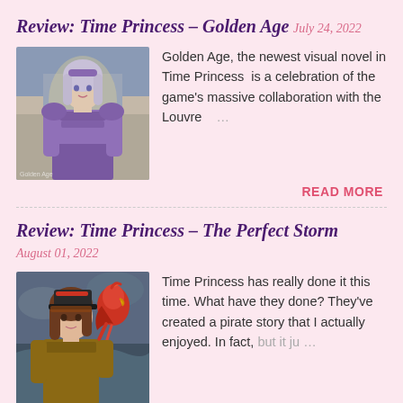Review: Time Princess – Golden Age
July 24, 2022
[Figure (illustration): Fantasy female character in ornate purple armor standing in a courtyard]
Golden Age, the newest visual novel in Time Princess  is a celebration of the game's massive collaboration with the Louvre  …
READ MORE
Review: Time Princess – The Perfect Storm
August 01, 2022
[Figure (illustration): Anime girl with brown hair wearing pirate hat with a red parrot]
Time Princess has really done it this time. What have they done? They've created a pirate story that I actually enjoyed. In fact, but it ju  …
READ MORE